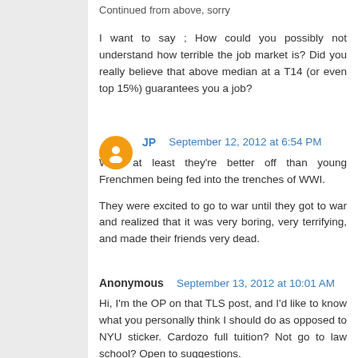Continued from above, sorry
I want to say ; How could you possibly not understand how terrible the job market is? Did you really believe that above median at a T14 (or even top 15%) guarantees you a job?
JP  September 12, 2012 at 6:54 PM
Well, at least they're better off than young Frenchmen being fed into the trenches of WWI.
They were excited to go to war until they got to war and realized that it was very boring, very terrifying, and made their friends very dead.
Anonymous  September 13, 2012 at 10:01 AM
Hi, I'm the OP on that TLS post, and I'd like to know what you personally think I should do as opposed to NYU sticker. Cardozo full tuition? Not go to law school? Open to suggestions.